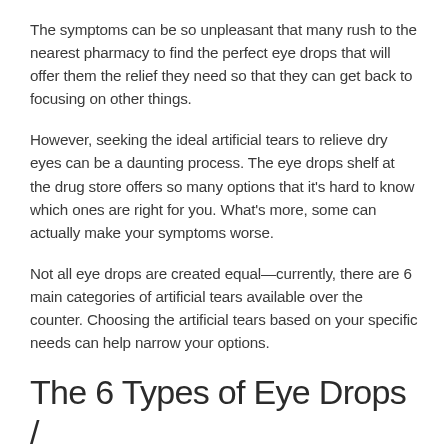The symptoms can be so unpleasant that many rush to the nearest pharmacy to find the perfect eye drops that will offer them the relief they need so that they can get back to focusing on other things.
However, seeking the ideal artificial tears to relieve dry eyes can be a daunting process. The eye drops shelf at the drug store offers so many options that it's hard to know which ones are right for you. What's more, some can actually make your symptoms worse.
Not all eye drops are created equal—currently, there are 6 main categories of artificial tears available over the counter. Choosing the artificial tears based on your specific needs can help narrow your options.
The 6 Types of Eye Drops / Artificial Tears